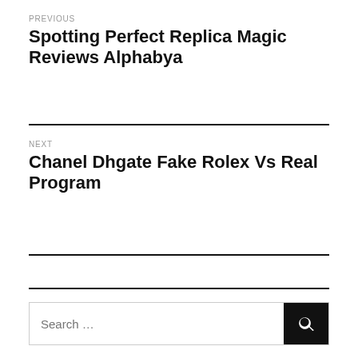PREVIOUS
Spotting Perfect Replica Magic Reviews Alphabya
NEXT
Chanel Dhgate Fake Rolex Vs Real Program